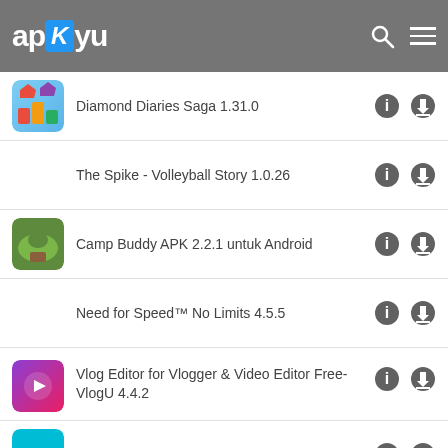apkyu - header with search and menu icons
Diamond Diaries Saga 1.31.0
The Spike - Volleyball Story 1.0.26
Camp Buddy APK 2.2.1 untuk Android
Need for Speed™ No Limits 4.5.5
Vlog Editor for Vlogger & Video Editor Free- VlogU 4.4.2
Tap Tap 2.4.5
Score! Hero 2.47